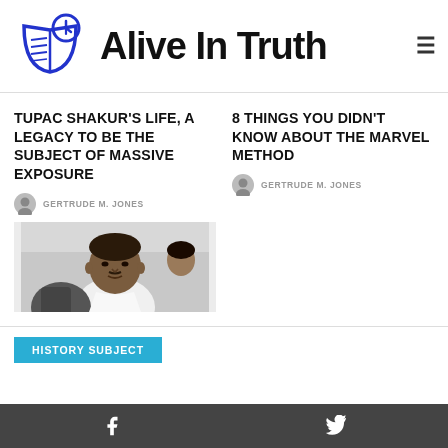Alive In Truth
TUPAC SHAKUR'S LIFE, A LEGACY TO BE THE SUBJECT OF MASSIVE EXPOSURE
GERTRUDE M. JONES
[Figure (photo): Portrait photo of Tupac Shakur]
8 THINGS YOU DIDN'T KNOW ABOUT THE MARVEL METHOD
GERTRUDE M. JONES
HISTORY SUBJECT
Facebook Twitter